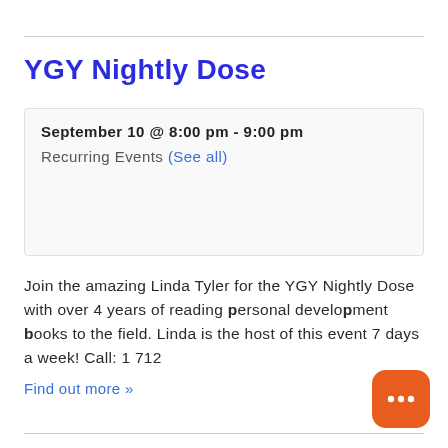YGY Nightly Dose
September 10 @ 8:00 pm - 9:00 pm
Recurring Events (See all)
Join the amazing Linda Tyler for the YGY Nightly Dose with over 4 years of reading personal development books to the field. Linda is the host of this event 7 days a week! Call: 1 712
Find out more »
[Figure (illustration): Orange rounded square chat bubble icon with three dots]